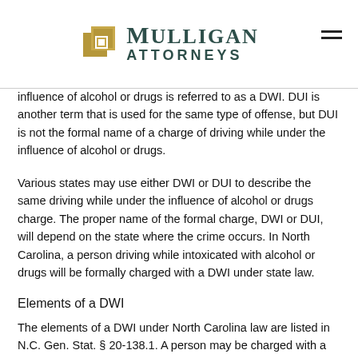[Figure (logo): Mulligan Attorneys logo with golden square icon and dark teal text]
influence of alcohol or drugs is referred to as a DWI. DUI is another term that is used for the same type of offense, but DUI is not the formal name of a charge of driving while under the influence of alcohol or drugs.
Various states may use either DWI or DUI to describe the same driving while under the influence of alcohol or drugs charge. The proper name of the formal charge, DWI or DUI, will depend on the state where the crime occurs. In North Carolina, a person driving while intoxicated with alcohol or drugs will be formally charged with a DWI under state law.
Elements of a DWI
The elements of a DWI under North Carolina law are listed in N.C. Gen. Stat. § 20-138.1. A person may be charged with a